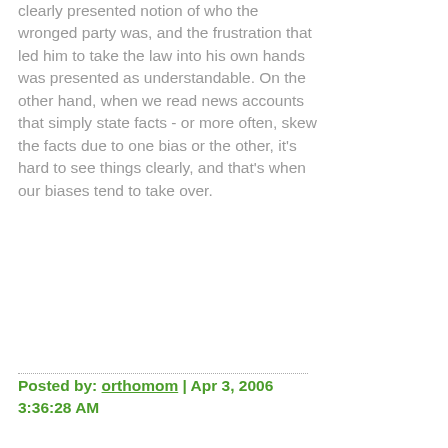clearly presented notion of who the wronged party was, and the frustration that led him to take the law into his own hands was presented as understandable. On the other hand, when we read news accounts that simply state facts - or more often, skew the facts due to one bias or the other, it's hard to see things clearly, and that's when our biases tend to take over.
Posted by: orthomom | Apr 3, 2006 3:36:28 AM